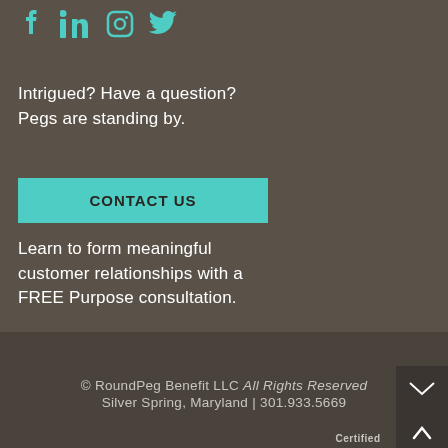[Figure (logo): Social media icons: Facebook, LinkedIn, Instagram, Twitter in teal/cyan color]
Intrigued? Have a question? Pegs are standing by.
CONTACT US
Learn to form meaningful customer relationships with a FREE Purpose consultation.
GET FREE CONSULT
© RoundPeg Benefit LLC All Rights Reserved
Silver Spring, Maryland | 301.933.5669